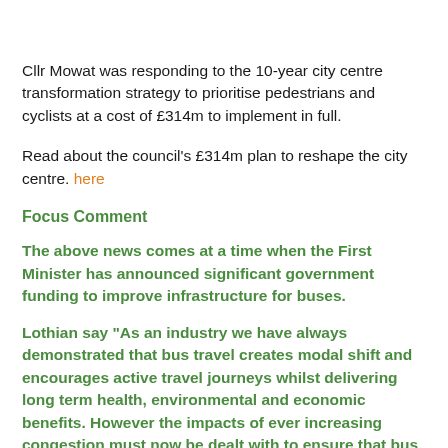Cllr Mowat was responding to the 10-year city centre transformation strategy to prioritise pedestrians and cyclists at a cost of £314m to implement in full.
Read about the council's £314m plan to reshape the city centre. here
Focus Comment
The above news comes at a time when the First Minister has announced significant government funding to improve infrastructure for buses.
Lothian say "As an industry we have always demonstrated that bus travel creates modal shift and encourages active travel journeys whilst delivering long term health, environmental and economic benefits. However the impacts of ever increasing congestion must now be dealt with to ensure that bus can deliver against the positive announcement from Scottish